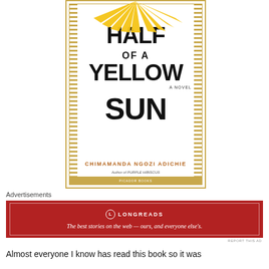[Figure (illustration): Book cover of 'Half of a Yellow Sun' by Chimamanda Ngozi Adichie. Bold black text on white background with golden decorative border. Yellow sun rays at top. Author's name in brown/orange. Subtitle 'Author of Purple Hibiscus' in italic.]
Advertisements
[Figure (infographic): Red advertisement banner for Longreads website with white logo circle containing 'L', brand name LONGREADS in caps, and tagline 'The best stories on the web — ours, and everyone else's.']
REPORT THIS AD
Almost everyone I know has read this book so it was